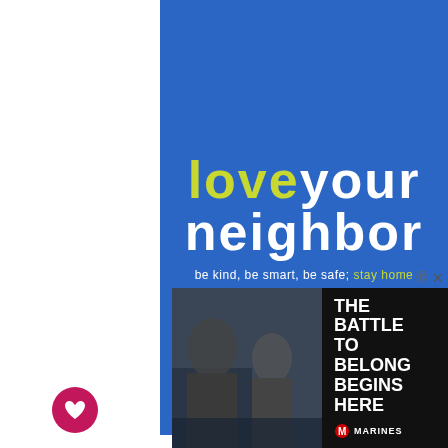[Figure (illustration): Blue background banner with stylized text reading 'love your neighbor' where 'love' is in yellow-green and the rest in white, with subtitle 'be kind, be smart, be safe; stay home']
riations to Try
Once you've mastered this recipe, here are
ations to try:
You can s n the onion salt for dried or
[Figure (advertisement): US Marines advertisement. Shows soldiers in combat gear. Text reads: THE BATTLE TO BELONG BEGINS HERE with Marines logo.]